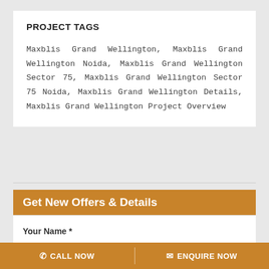PROJECT TAGS
Maxblis Grand Wellington, Maxblis Grand Wellington Noida, Maxblis Grand Wellington Sector 75, Maxblis Grand Wellington Sector 75 Noida, Maxblis Grand Wellington Details, Maxblis Grand Wellington Project Overview
Get New Offers & Details
Your Name *
CALL NOW   ENQUIRE NOW